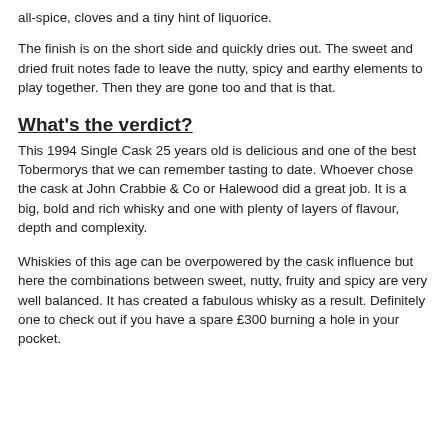all-spice, cloves and a tiny hint of liquorice.
The finish is on the short side and quickly dries out. The sweet and dried fruit notes fade to leave the nutty, spicy and earthy elements to play together. Then they are gone too and that is that.
What's the verdict?
This 1994 Single Cask 25 years old is delicious and one of the best Tobermorys that we can remember tasting to date. Whoever chose the cask at John Crabbie & Co or Halewood did a great job. It is a big, bold and rich whisky and one with plenty of layers of flavour, depth and complexity.
Whiskies of this age can be overpowered by the cask influence but here the combinations between sweet, nutty, fruity and spicy are very well balanced. It has created a fabulous whisky as a result. Definitely one to check out if you have a spare £300 burning a hole in your pocket.